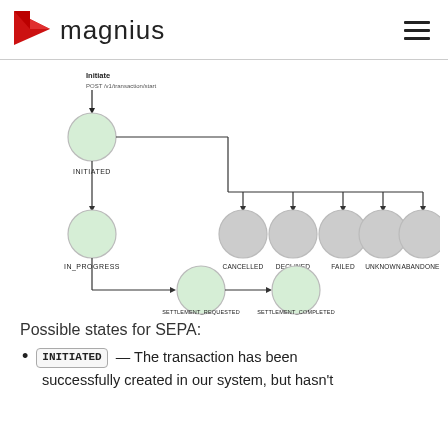magnius
[Figure (flowchart): State diagram showing transaction states: Initiate (POST /v1/transaction/start) leads to INITIATED, which branches to IN_PROGRESS and 5 terminal states (CANCELLED, DECLINED, FAILED, UNKNOWN, ABANDONED). IN_PROGRESS leads to SETTLEMENT_REQUESTED which leads to SETTLEMENT_COMPLETED.]
Possible states for SEPA:
INITIATED — The transaction has been successfully created in our system, but hasn't
successfully created in our system, but hasn't